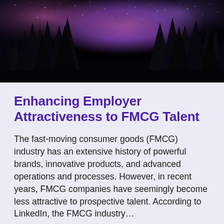[Figure (photo): Night sky photograph with silhouettes of tall pine/fir trees against a starry purple and pink sky, taken from below looking upward.]
Enhancing Employer Attractiveness to FMCG Talent
The fast-moving consumer goods (FMCG) industry has an extensive history of powerful brands, innovative products, and advanced operations and processes. However, in recent years, FMCG companies have seemingly become less attractive to prospective talent. According to LinkedIn, the FMCG industry…